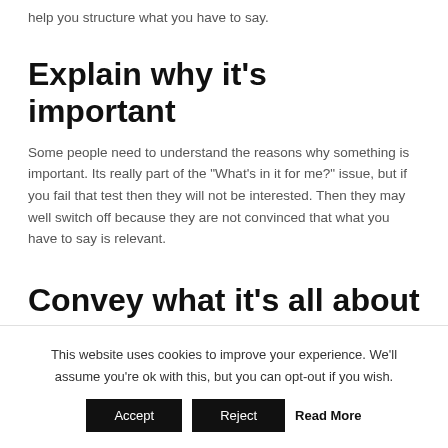help you structure what you have to say.
Explain why it's important
Some people need to understand the reasons why something is important. Its really part of the "What's in it for me?" issue, but if you fail that test then they will not be interested. Then they may well switch off because they are not convinced that what you have to say is relevant.
Convey what it's all about
This website uses cookies to improve your experience. We'll assume you're ok with this, but you can opt-out if you wish.